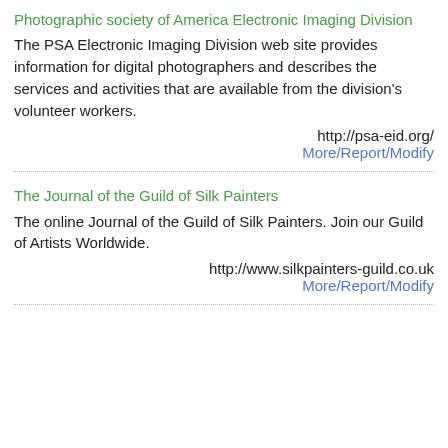Photographic society of America Electronic Imaging Division
The PSA Electronic Imaging Division web site provides information for digital photographers and describes the services and activities that are available from the division's volunteer workers.
http://psa-eid.org/
More/Report/Modify
The Journal of the Guild of Silk Painters
The online Journal of the Guild of Silk Painters. Join our Guild of Artists Worldwide.
http://www.silkpainters-guild.co.uk
More/Report/Modify